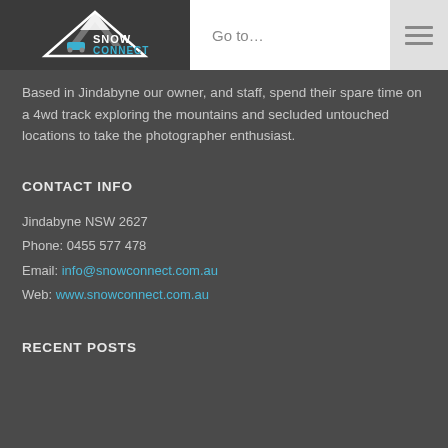Snow Connect — Go to... [navigation menu]
Based in Jindabyne our owner, and staff, spend their spare time on a 4wd track exploring the mountains and secluded untouched locations to take the photographer enthusiast.
CONTACT INFO
Jindabyne NSW 2627
Phone: 0455 577 478
Email: info@snowconnect.com.au
Web: www.snowconnect.com.au
RECENT POSTS